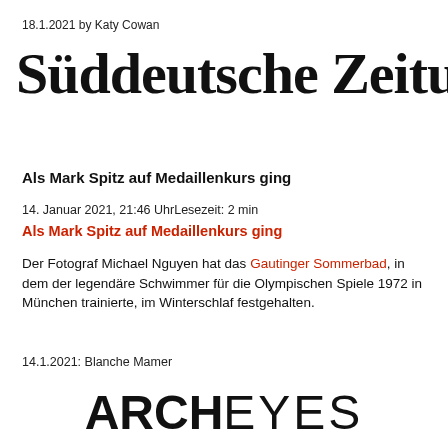18.1.2021 by Katy Cowan
Süddeutsche Zeitung
Als Mark Spitz auf Medaillenkurs ging
14. Januar 2021, 21:46 UhrLesezeit: 2 min
Als Mark Spitz auf Medaillenkurs ging
Der Fotograf Michael Nguyen hat das Gautinger Sommerbad, in dem der legendäre Schwimmer für die Olympischen Spiele 1972 in München trainierte, im Winterschlaf festgehalten.
14.1.2021: Blanche Mamer
[Figure (logo): ARCHEYES logo in large bold black uppercase letters with ARCH in heavy weight and EYES in thin weight]